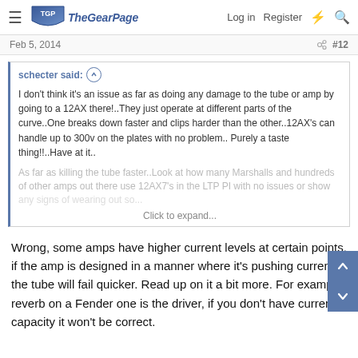The Gear Page — Log in | Register
Feb 5, 2014 #12
schecter said: ↑

I don't think it's an issue as far as doing any damage to the tube or amp by going to a 12AX there!..They just operate at different parts of the curve..One breaks down faster and clips harder than the other..12AX's can handle up to 300v on the plates with no problem.. Purely a taste thing!!..Have at it..

As far as killing the tube faster..Look at how many Marshalls and hundreds of other amps out there use 12AX7's in the LTP PI with no issues or show any signs of wearing out so...

Click to expand...
Wrong, some amps have higher current levels at certain points, if the amp is designed in a manner where it's pushing current the tube will fail quicker. Read up on it a bit more. For example reverb on a Fender one is the driver, if you don't have current capacity it won't be correct.